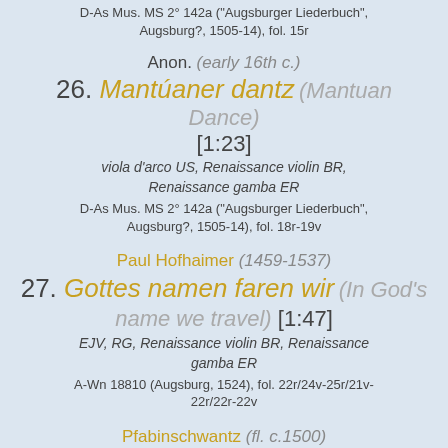D-As Mus. MS 2° 142a ("Augsburger Liederbuch", Augsburg?, 1505-14), fol. 15r
Anon. (early 16th c.)
26. Mantúaner dantz (Mantuan Dance)
[1:23]
viola d'arco US, Renaissance violin BR, Renaissance gamba ER
D-As Mus. MS 2° 142a ("Augsburger Liederbuch", Augsburg?, 1505-14), fol. 18r-19v
Paul Hofhaimer (1459-1537)
27. Gottes namen faren wir (In God's name we travel) [1:47]
EJV, RG, Renaissance violin BR, Renaissance gamba ER
A-Wn 18810 (Augsburg, 1524), fol. 22r/24v-25r/21v-22r/22r-22v
Pfabinschwantz (fl. c.1500)
28. Maria zart, von edler art (Dear